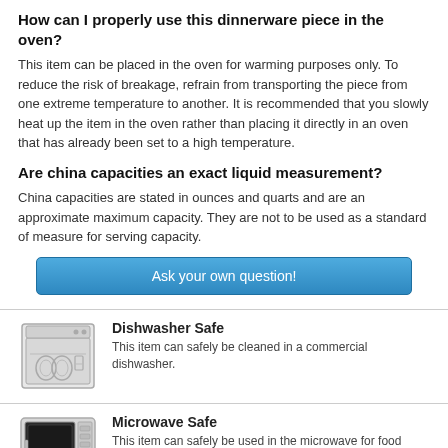How can I properly use this dinnerware piece in the oven?
This item can be placed in the oven for warming purposes only. To reduce the risk of breakage, refrain from transporting the piece from one extreme temperature to another. It is recommended that you slowly heat up the item in the oven rather than placing it directly in an oven that has already been set to a high temperature.
Are china capacities an exact liquid measurement?
China capacities are stated in ounces and quarts and are an approximate maximum capacity. They are not to be used as a standard of measure for serving capacity.
[Figure (other): Blue button with text 'Ask your own question!']
[Figure (illustration): Dishwasher icon - gray dishwasher appliance with dishes inside]
Dishwasher Safe
This item can safely be cleaned in a commercial dishwasher.
[Figure (illustration): Microwave icon - gray microwave appliance with dark door]
Microwave Safe
This item can safely be used in the microwave for food service applications.